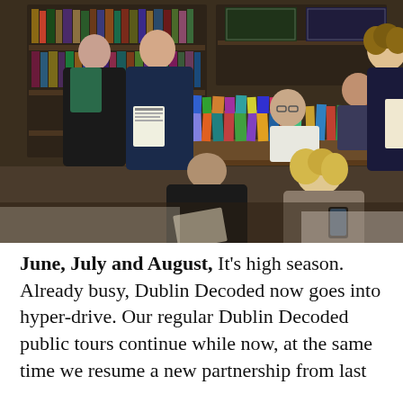[Figure (photo): People browsing books in a cluttered antiquarian bookshop. Several people sit on the floor reading and using phones; others stand around tables covered with stacked books. Wooden shelving units filled with books and curiosities line the walls.]
June, July and August, It's high season. Already busy, Dublin Decoded now goes into hyper-drive. Our regular Dublin Decoded public tours continue while now, at the same time we resume a new partnership from last